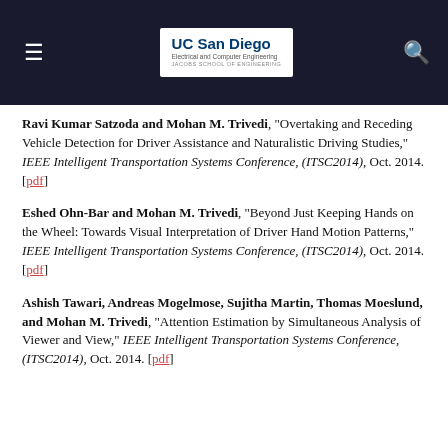UC San Diego Electrical and Computer Engineering JACOBS SCHOOL OF ENGINEERING
Ravi Kumar Satzoda and Mohan M. Trivedi, "Overtaking and Receding Vehicle Detection for Driver Assistance and Naturalistic Driving Studies," IEEE Intelligent Transportation Systems Conference, (ITSC2014), Oct. 2014. [pdf]
Eshed Ohn-Bar and Mohan M. Trivedi, "Beyond Just Keeping Hands on the Wheel: Towards Visual Interpretation of Driver Hand Motion Patterns," IEEE Intelligent Transportation Systems Conference, (ITSC2014), Oct. 2014. [pdf]
Ashish Tawari, Andreas Mogelmose, Sujitha Martin, Thomas Moeslund, and Mohan M. Trivedi, "Attention Estimation by Simultaneous Analysis of Viewer and View," IEEE Intelligent Transportation Systems Conference, (ITSC2014), Oct. 2014. [pdf]